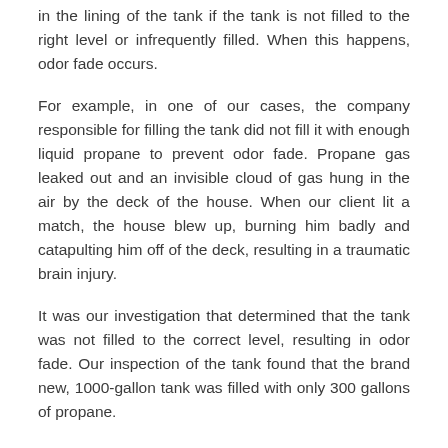in the lining of the tank if the tank is not filled to the right level or infrequently filled. When this happens, odor fade occurs.
For example, in one of our cases, the company responsible for filling the tank did not fill it with enough liquid propane to prevent odor fade. Propane gas leaked out and an invisible cloud of gas hung in the air by the deck of the house. When our client lit a match, the house blew up, burning him badly and catapulting him off of the deck, resulting in a traumatic brain injury.
It was our investigation that determined that the tank was not filled to the correct level, resulting in odor fade. Our inspection of the tank found that the brand new, 1000-gallon tank was filled with only 300 gallons of propane.
A warning on the outside of the tank read: